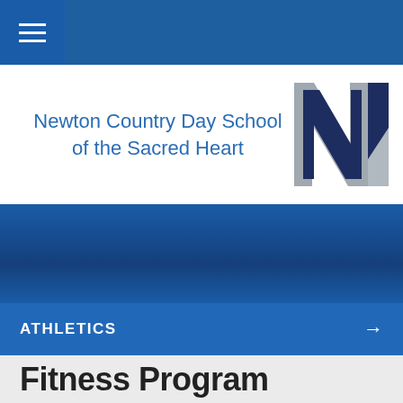Newton Country Day School of the Sacred Heart
[Figure (logo): Newton Country Day School letter N logo in navy and grey]
ATHLETICS →
Fitness Program